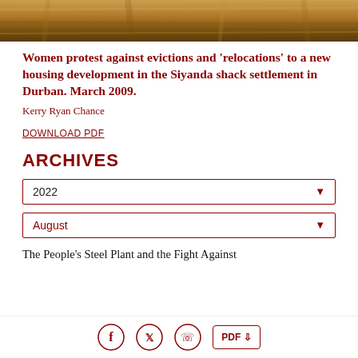[Figure (photo): Top strip showing a sandy/earthy ground texture, cropped photo of soil or dirt]
Women protest against evictions and 'relocations' to a new housing development in the Siyanda shack settlement in Durban. March 2009.
Kerry Ryan Chance
DOWNLOAD PDF
ARCHIVES
2022
August
The People's Steel Plant and the Fight Against
Facebook | Twitter | WhatsApp | PDF Download